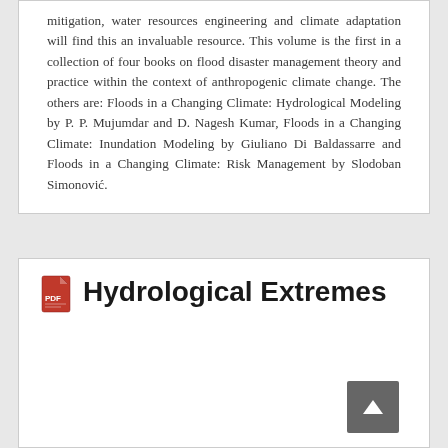mitigation, water resources engineering and climate adaptation will find this an invaluable resource. This volume is the first in a collection of four books on flood disaster management theory and practice within the context of anthropogenic climate change. The others are: Floods in a Changing Climate: Hydrological Modeling by P. P. Mujumdar and D. Nagesh Kumar, Floods in a Changing Climate: Inundation Modeling by Giuliano Di Baldassarre and Floods in a Changing Climate: Risk Management by Slodoban Simonović.
Hydrological Extremes
[Figure (photo): Book cover for Hydrological Extremes showing a blue cover with Water Science and Technology Library series header and authors Ashish Pandey, S. K. Mishra]